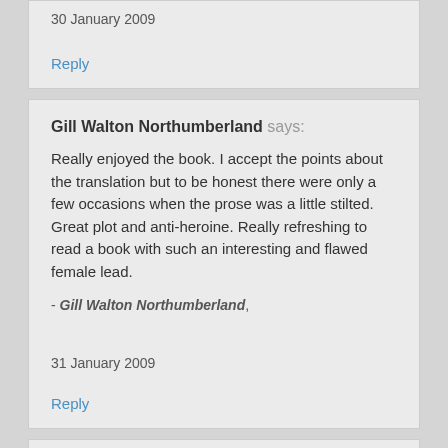30 January 2009
Reply
Gill Walton Northumberland says:
Really enjoyed the book. I accept the points about the translation but to be honest there were only a few occasions when the prose was a little stilted. Great plot and anti-heroine. Really refreshing to read a book with such an interesting and flawed female lead.
- Gill Walton Northumberland,
31 January 2009
Reply
Susan, Ireland says:
Great book but agree with some of the comments about the translation. Swenglish words like plugging (studying) aren't fun to read.